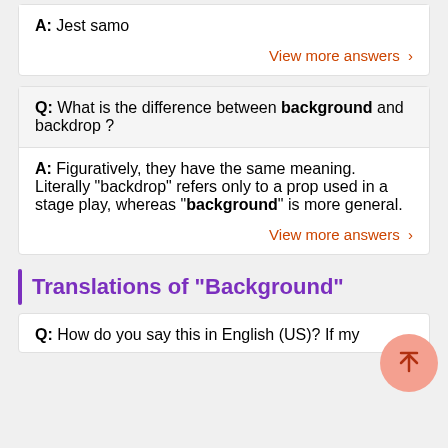A: Jest samo
View more answers >
Q: What is the difference between background and backdrop ?
A: Figuratively, they have the same meaning. Literally "backdrop" refers only to a prop used in a stage play, whereas "background" is more general.
View more answers >
Translations of "Background"
Q: How do you say this in English (US)? If my